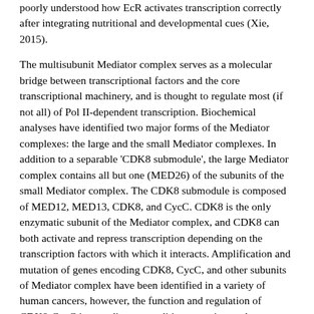poorly understood how EcR activates transcription correctly after integrating nutritional and developmental cues (Xie, 2015).
The multisubunit Mediator complex serves as a molecular bridge between transcriptional factors and the core transcriptional machinery, and is thought to regulate most (if not all) of Pol II-dependent transcription. Biochemical analyses have identified two major forms of the Mediator complexes: the large and the small Mediator complexes. In addition to a separable 'CDK8 submodule', the large Mediator complex contains all but one (MED26) of the subunits of the small Mediator complex. The CDK8 submodule is composed of MED12, MED13, CDK8, and CycC. CDK8 is the only enzymatic subunit of the Mediator complex, and CDK8 can both activate and repress transcription depending on the transcription factors with which it interacts. Amplification and mutation of genes encoding CDK8, CycC, and other subunits of Mediator complex have been identified in a variety of human cancers, however, the function and regulation of CDK8-CycC in non-disease conditions remain poorly understood. CDK8 and CycC are highly conserved in eukaryotes, thus analysis of the functional regulation of CDK8-CycC in Drosophila is a viable approach to understand their activities (Xie, 2015).